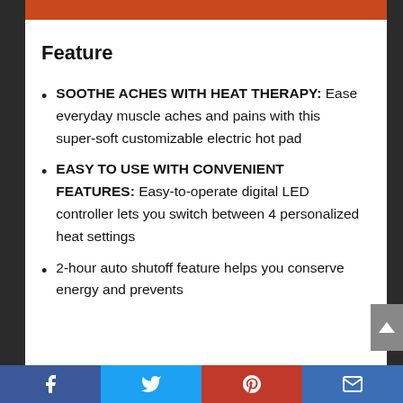Feature
SOOTHE ACHES WITH HEAT THERAPY: Ease everyday muscle aches and pains with this super-soft customizable electric hot pad
EASY TO USE WITH CONVENIENT FEATURES: Easy-to-operate digital LED controller lets you switch between 4 personalized heat settings
2-hour auto shutoff feature helps you conserve energy and prevents